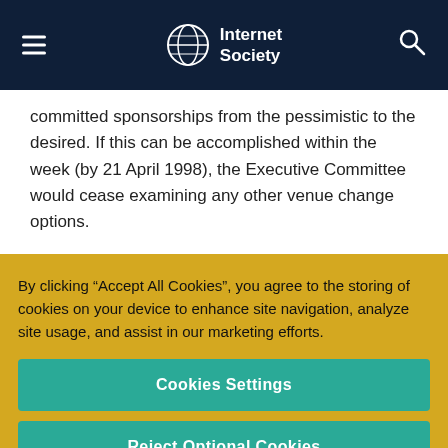Internet Society
committed sponsorships from the pessimistic to the desired. If this can be accomplished within the week (by 21 April 1998), the Executive Committee would cease examining any other venue change options.
By clicking “Accept All Cookies”, you agree to the storing of cookies on your device to enhance site navigation, analyze site usage, and assist in our marketing efforts.
Cookies Settings
Reject Optional Cookies
Accept All Cookies